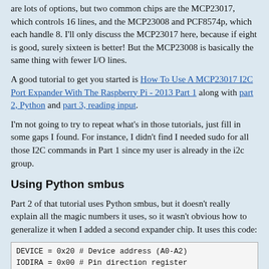are lots of options, but two common chips are the MCP23017, which controls 16 lines, and the MCP23008 and PCF8574p, which each handle 8. I'll only discuss the MCP23017 here, because if eight is good, surely sixteen is better! But the MCP23008 is basically the same thing with fewer I/O lines.
A good tutorial to get you started is How To Use A MCP23017 I2C Port Expander With The Raspberry Pi - 2013 Part 1 along with part 2, Python and part 3, reading input.
I'm not going to try to repeat what's in those tutorials, just fill in some gaps I found. For instance, I didn't find I needed sudo for all those I2C commands in Part 1 since my user is already in the i2c group.
Using Python smbus
Part 2 of that tutorial uses Python smbus, but it doesn't really explain all the magic numbers it uses, so it wasn't obvious how to generalize it when I added a second expander chip. It uses this code:
| DEVICE = 0x20 # Device address (A0-A2) |
| IODIRA = 0x00 # Pin direction register |
| OLATA  = 0x14 # Register for outputs |
| GPIOA  = 0x12 # Register for inputs |